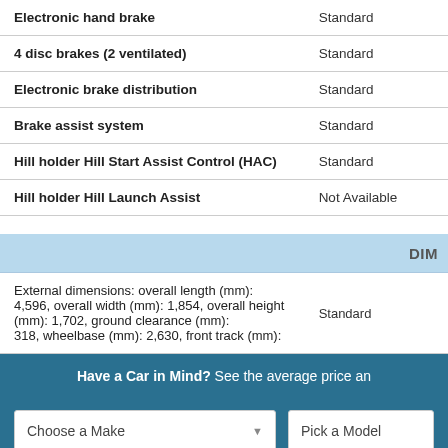| Feature | Availability |
| --- | --- |
| Electronic hand brake | Standard |
| 4 disc brakes (2 ventilated) | Standard |
| Electronic brake distribution | Standard |
| Brake assist system | Standard |
| Hill holder Hill Start Assist Control (HAC) | Standard |
| Hill holder Hill Launch Assist | Not Available |
DIM
| Feature | Availability |
| --- | --- |
| External dimensions: overall length (mm): 4,596, overall width (mm): 1,854, overall height (mm): 1,702, ground clearance (mm): 318, wheelbase (mm): 2,630, front track (mm): | Standard |
Have a Car in Mind? See the average price an
Choose a Make
Pick a Model